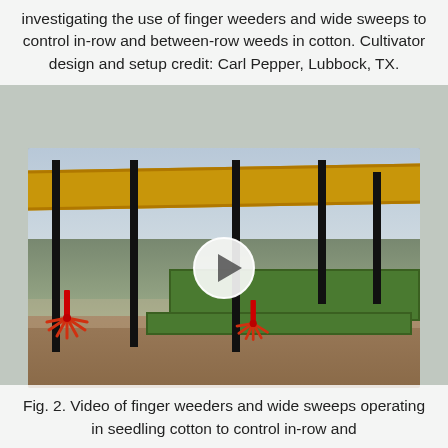investigating the use of finger weeders and wide sweeps to control in-row and between-row weeds in cotton. Cultivator design and setup credit: Carl Pepper, Lubbock, TX.
[Figure (photo): Video thumbnail showing a cultivator with yellow horizontal beam, black vertical posts, green frame sections, and red finger weeder attachments operating in a field with bare soil and open sky. A white circular play button overlay is centered on the image.]
Fig. 2. Video of finger weeders and wide sweeps operating in seedling cotton to control in-row and